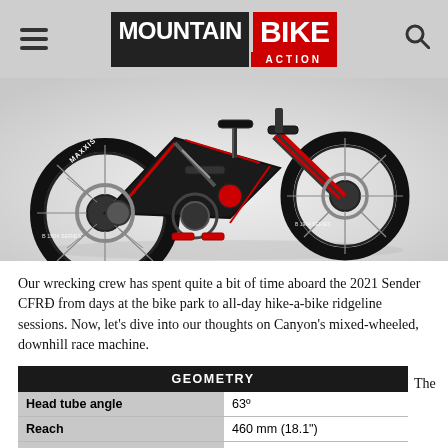Mountain Bike Action
[Figure (photo): A Canyon Sender CFR downhill mountain bike with mixed wheel sizes, black and red colorway, Maxxis tires, photographed on a white/grey background from the rear-left angle.]
Our wrecking crew has spent quite a bit of time aboard the 2021 Sender CFRÐ from days at the bike park to all-day hike-a-bike ridgeline sessions. Now, let’s dive into our thoughts on Canyon’s mixed-wheeled, downhill race machine.
| GEOMETRY |  |
| --- | --- |
| Head tube angle | 63º |
| Reach | 460 mm (18.1") |
| Stack | 623 mm (24.5") |
| Actual seat tube angle | 60º |
| Bottom bracket height | 349.25 mm (13.75") |
| Chainstay length | 435 mm (17.1") |
The